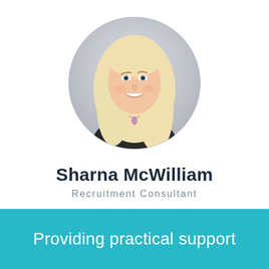[Figure (photo): Circular cropped professional headshot of a young woman with long straight blonde hair, smiling, wearing a dark top and purple pendant necklace, against a light grey background.]
Sharna McWilliam
Recruitment Consultant
Providing practical support